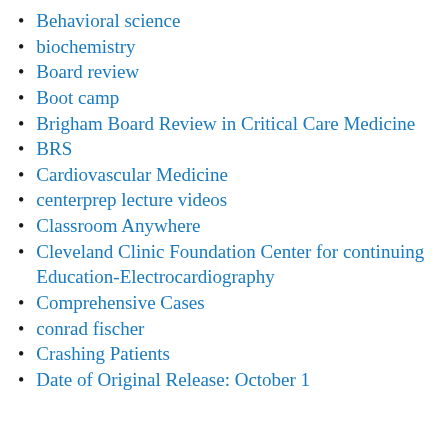Behavioral science
biochemistry
Board review
Boot camp
Brigham Board Review in Critical Care Medicine
BRS
Cardiovascular Medicine
centerprep lecture videos
Classroom Anywhere
Cleveland Clinic Foundation Center for continuing Education-Electrocardiography
Comprehensive Cases
conrad fischer
Crashing Patients
Date of Original Release: October 1